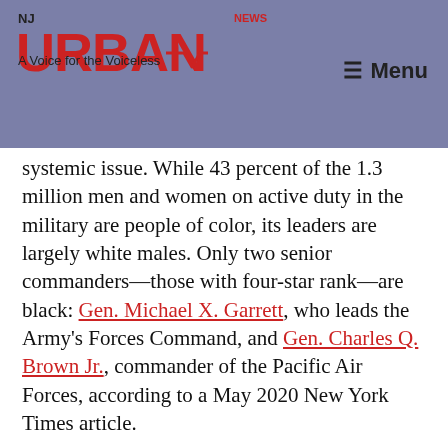NJ URBAN NEWS — A Voice for the Voiceless
systemic issue. While 43 percent of the 1.3 million men and women on active duty in the military are people of color, its leaders are largely white males. Only two senior commanders—those with four-star rank—are black: Gen. Michael X. Garrett, who leads the Army's Forces Command, and Gen. Charles Q. Brown Jr., commander of the Pacific Air Forces, according to a May 2020 New York Times article.
To address this problem, the Defense Department and each of the service